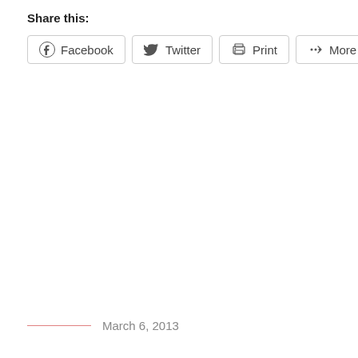Share this:
Facebook  Twitter  Print  More
March 6, 2013